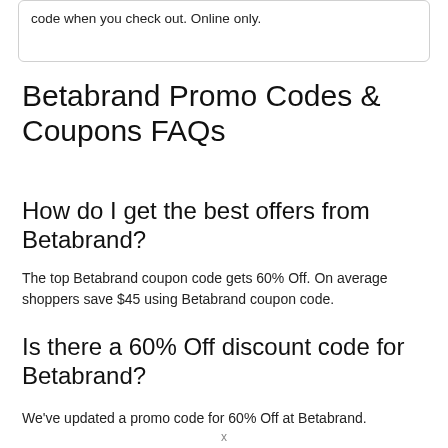code when you check out. Online only.
Betabrand Promo Codes & Coupons FAQs
How do I get the best offers from Betabrand?
The top Betabrand coupon code gets 60% Off. On average shoppers save $45 using Betabrand coupon code.
Is there a 60% Off discount code for Betabrand?
We've updated a promo code for 60% Off at Betabrand.
x